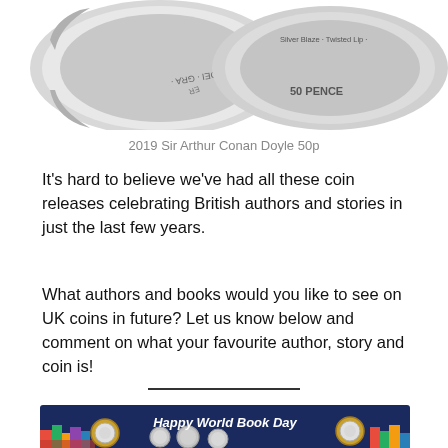[Figure (photo): Two 50p coins showing the 2019 Sir Arthur Conan Doyle commemorative coin - one showing reverse with 'Silver Blaze' and 'Twisted Lip' inscriptions visible and '50 PENCE', the other showing obverse with 'DEI GRA' inscription]
2019 Sir Arthur Conan Doyle 50p
It's hard to believe we've had all these coin releases celebrating British authors and stories in just the last few years.
What authors and books would you like to see on UK coins in future? Let us know below and comment on what your favourite author, story and coin is!
[Figure (photo): Happy World Book Day banner image with coins on a dark blue background featuring illustrated colorful book stacks, showing various commemorative coins including £2 coins and 50p coins]